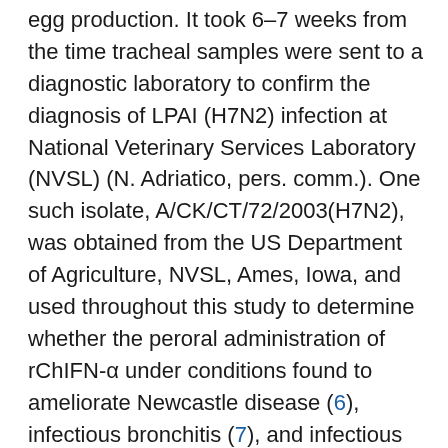egg production. It took 6–7 weeks from the time tracheal samples were sent to a diagnostic laboratory to confirm the diagnosis of LPAI (H7N2) infection at National Veterinary Services Laboratory (NVSL) (N. Adriatico, pers. comm.). One such isolate, A/CK/CT/72/2003(H7N2), was obtained from the US Department of Agriculture, NVSL, Ames, Iowa, and used throughout this study to determine whether the peroral administration of rChIFN-α under conditions found to ameliorate Newcastle disease (6), infectious bronchitis (7), and infectious bursal disease (8), would similarly affect avian influenza. We reasoned that if the spread of LPAI could be slowed or prevented, the probability of its mutating to HPAI would be proportionately reduced, thereby lowering the chances of transmission to humans. In the course of this study, we observed a strong adjuvant effect of rChIFN-α administered in drinking water under